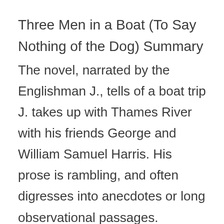Three Men in a Boat (To Say Nothing of the Dog) Summary
The novel, narrated by the Englishman J., tells of a boat trip J. takes up with Thames River with his friends George and William Samuel Harris. His prose is rambling, and often digresses into anecdotes or long observational passages.
One night, the three men smoke together in J.'s London apartment, discussing their anxiety over their